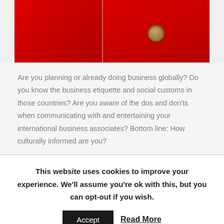[Figure (photo): Close-up photo of red fabric/clothing with a button detail, split into two panels]
Are you planning or already doing business globally? Do you know the business etiquette and social customs in those countries? Are you aware of the dos and don’ts when communicating with and entertaining your international business associates? Bottom line: How culturally informed are you?
This website uses cookies to improve your experience. We'll assume you're ok with this, but you can opt-out if you wish.